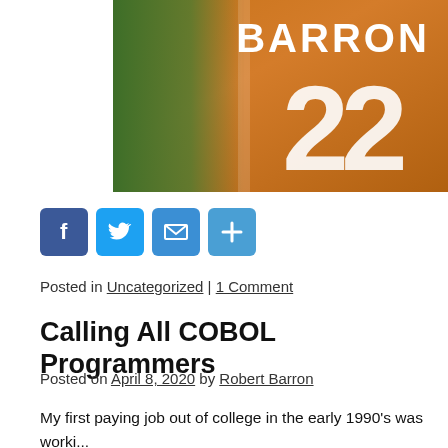[Figure (photo): Orange football jersey with 'BARRON' printed on the back and number 22, with green grass visible in background]
Facebook Twitter Email Share buttons
Posted in Uncategorized | 1 Comment
Calling All COBOL Programmers
Posted on April 8, 2020 by Robert Barron
My first paying job out of college in the early 1990's was worki... COBOL compilers and runtimes. Even then the language was so...